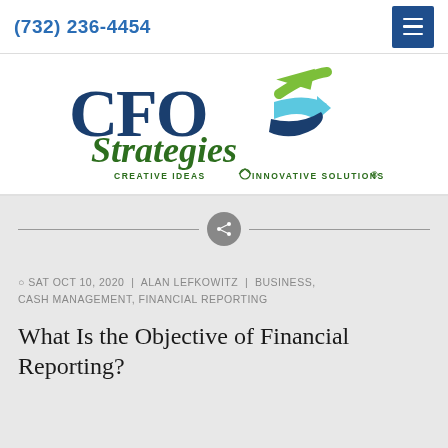(732) 236-4454
[Figure (logo): CFO Strategies logo with blue and green arrows and tagline 'CREATIVE IDEAS INNOVATIVE SOLUTIONS®']
SAT OCT 10, 2020 | ALAN LEFKOWITZ | BUSINESS, CASH MANAGEMENT, FINANCIAL REPORTING
What Is the Objective of Financial Reporting?